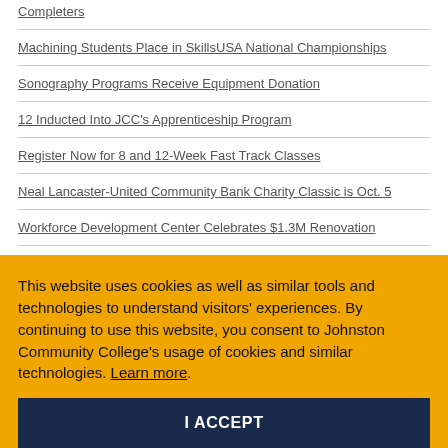Completers
Machining Students Place in SkillsUSA National Championships
Sonography Programs Receive Equipment Donation
12 Inducted Into JCC's Apprenticeship Program
Register Now for 8 and 12-Week Fast Track Classes
Neal Lancaster-United Community Bank Charity Classic is Oct. 5
Workforce Development Center Celebrates $1.3M Renovation
Counselors, Students Visit Industry, College for Manufacturing Week
Finish Line Grant Helps Students With Unforeseen Emergencies
SECU Bridge to Career Scholarships Available at JCC
JCC Seeks M5 Million in Bond Referendum
This website uses cookies as well as similar tools and technologies to understand visitors' experiences. By continuing to use this website, you consent to Johnston Community College's usage of cookies and similar technologies. Learn more.
I ACCEPT